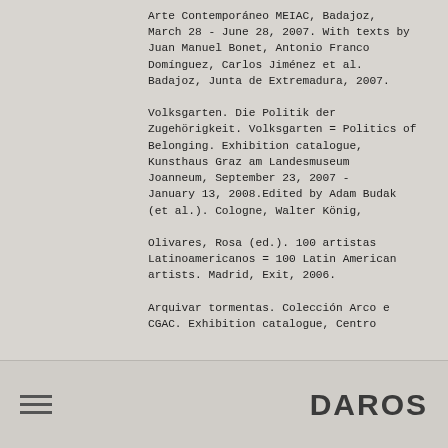Arte Contemporáneo MEIAC, Badajoz, March 28 - June 28, 2007. With texts by Juan Manuel Bonet, Antonio Franco Domínguez, Carlos Jiménez et al. Badajoz, Junta de Extremadura, 2007.
Volksgarten. Die Politik der Zugehörigkeit. Volksgarten = Politics of Belonging. Exhibition catalogue, Kunsthaus Graz am Landesmuseum Joanneum, September 23, 2007 - January 13, 2008.Edited by Adam Budak (et al.). Cologne, Walter König,
Olivares, Rosa (ed.). 100 artistas Latinoamericanos = 100 Latin American artists. Madrid, Exit, 2006.
Arquivar tormentas. Colección Arco e CGAC. Exhibition catalogue, Centro
DAROS